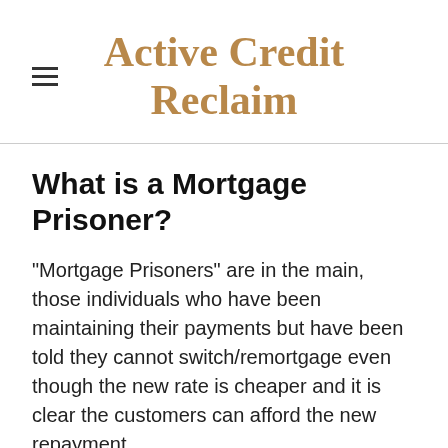Active Credit Reclaim
What is a Mortgage Prisoner?
"Mortgage Prisoners" are in the main, those individuals who have been maintaining their payments but have been told they cannot switch/remortgage even though the new rate is cheaper and it is clear the customers can afford the new repayment.